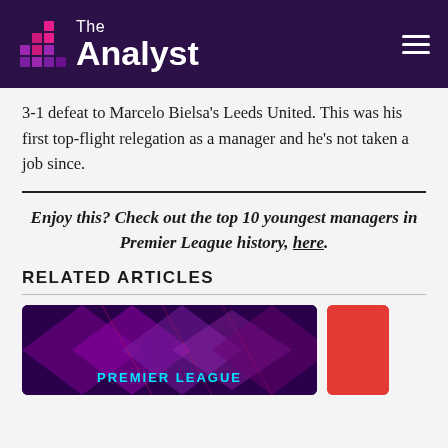The Analyst
3-1 defeat to Marcelo Bielsa's Leeds United. This was his first top-flight relegation as a manager and he's not taken a job since.
Enjoy this? Check out the top 10 youngest managers in Premier League history, here.
RELATED ARTICLES
[Figure (photo): Premier League themed graphic card with purple/pink geometric diamond pattern and cyan text reading PREMIER LEAGUE]
[Figure (photo): Red colored card thumbnail]